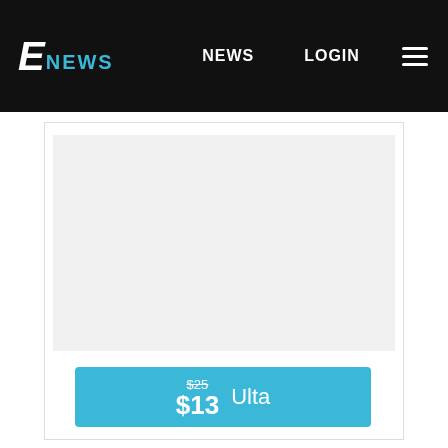E! NEWS   NEWS   LOGIN
[Figure (screenshot): Light gray image placeholder rectangle within a product card]
$25 $13  Ulta